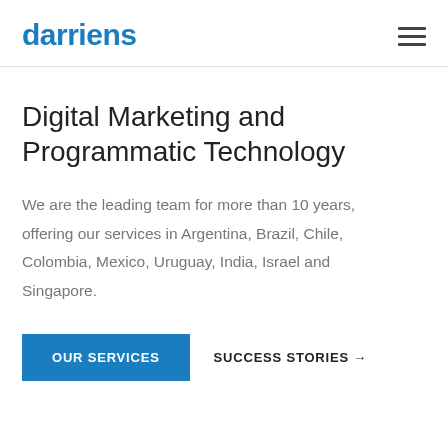darriens
Digital Marketing and Programmatic Technology
We are the leading team for more than 10 years, offering our services in Argentina, Brazil, Chile, Colombia, Mexico, Uruguay, India, Israel and Singapore.
OUR SERVICES
SUCCESS STORIES →